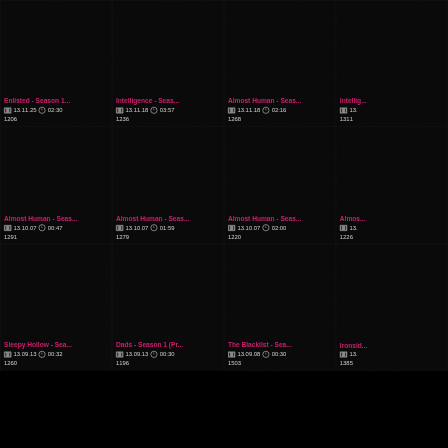Enlisted - Season 1... | 13.11.25 | 02:30 | 1206
Intelligence - Seas... | 13.11.18 | 03:57 | 1236
Almost Human - Seas... | 13.11.18 | 02:16 | 1268
Intellig... | 13. | 1311
Almost Human - Seas... | 13.10.07 | 00:47 | 1291
Almost Human - Seas... | 13.10.07 | 01:59 | 1279
Almost Human - Seas... | 13.10.07 | 02:00 | 1220
Almos... | 13. | 1226
Sleepy Hollow - Sea... | 13.09.13 | 00:32 | 1260
Dads - Season 1 (Pr... | 13.09.13 | 00:30 | 1196
The Blacklist - Sea... | 13.09.08 | 00:30 | 1503
Ironsid... | 13. | 1385